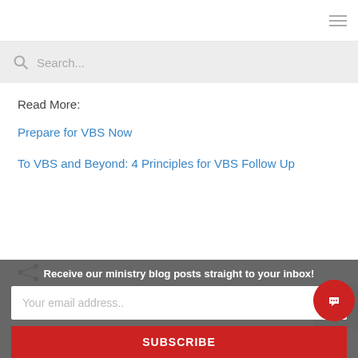Search...
Read More:
Prepare for VBS Now
To VBS and Beyond: 4 Principles for VBS Follow Up
Tags: Children's & Youth Ministry
Receive our ministry blog posts straight to your inbox!
Your email address..
SUBSCRIBE